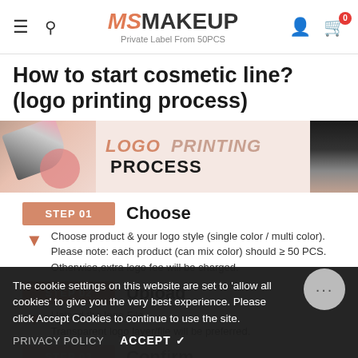MSMAKEUP — Private Label From 50PCS
How to start cosmetic line? (logo printing process)
[Figure (illustration): Banner image showing makeup products (brush, eyeshadow palette, lipstick, pearl) with text LOGO PRINTING PROCESS]
STEP 01 — Choose: Choose product & your logo style (single color / multi color). Please note: each product (can mix color) should ≥ 50 PCS. Otherwise,extra logo fee will be charged.
STEP 02 — Upload: Upload the logo File. Transparent logo layer/file will be preferred.
STEP 03 — Confirm: Confirm logo effect on product. Our beauty business consultant will send you logo effect, please confirm and we will arrange production.
The cookie settings on this website are set to 'allow all cookies' to give you the very best experience. Please click Accept Cookies to continue to use the site.
PRIVACY POLICY   ACCEPT ✓